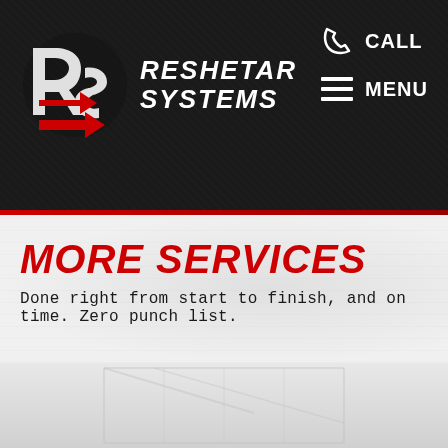[Figure (logo): Reshetar Systems logo: RS emblem with red arrows/swoosh on dark background, company name in white italic bold text]
CALL  MENU
MORE SERVICES
Done right from start to finish, and on time. Zero punch list.
[Figure (photo): Faint background photo of a white building or truck facade, washed out/light overlay]